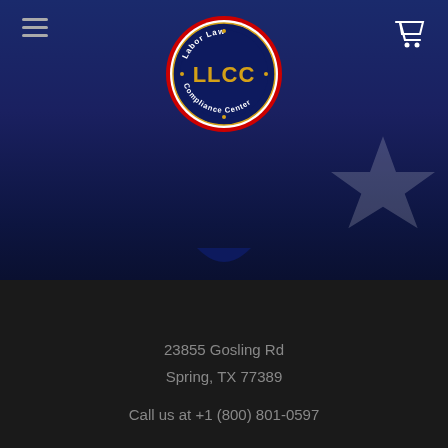[Figure (logo): Labor Law Compliance Center (LLCC) circular logo with red border, dark blue center, gold text 'LLCC' and surrounding text 'Labor Law Compliance Center']
23855 Gosling Rd
Spring, TX 77389
Call us at +1 (800) 801-0597
NAVIGATE
CATEGORIES
About Us
Leave a message